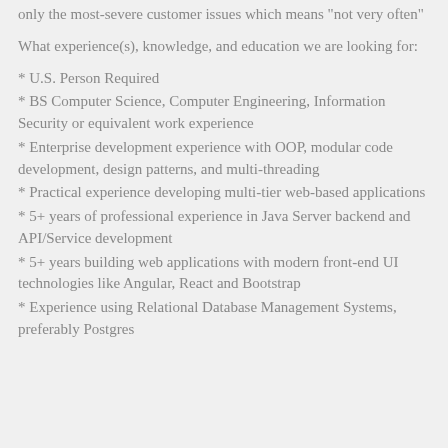only the most-severe customer issues which means "not very often"
What experience(s), knowledge, and education we are looking for:
* U.S. Person Required
* BS Computer Science, Computer Engineering, Information Security or equivalent work experience
* Enterprise development experience with OOP, modular code development, design patterns, and multi-threading
* Practical experience developing multi-tier web-based applications
* 5+ years of professional experience in Java Server backend and API/Service development
* 5+ years building web applications with modern front-end UI technologies like Angular, React and Bootstrap
* Experience using Relational Database Management Systems, preferably Postgres